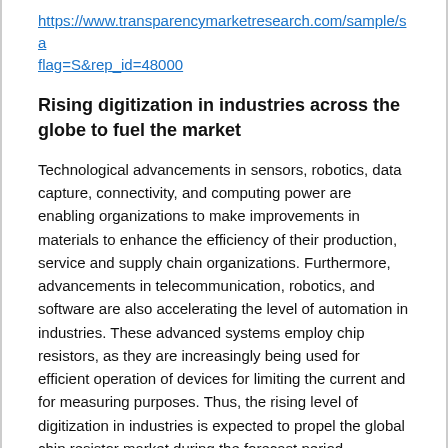https://www.transparencymarketresearch.com/sample/sample.php?flag=S&rep_id=48000
Rising digitization in industries across the globe to fuel the market
Technological advancements in sensors, robotics, data capture, connectivity, and computing power are enabling organizations to make improvements in materials to enhance the efficiency of their production, service and supply chain organizations. Furthermore, advancements in telecommunication, robotics, and software are also accelerating the level of automation in industries. These advanced systems employ chip resistors, as they are increasingly being used for efficient operation of devices for limiting the current and for measuring purposes. Thus, the rising level of digitization in industries is expected to propel the global chip resistor market during the forecast period.